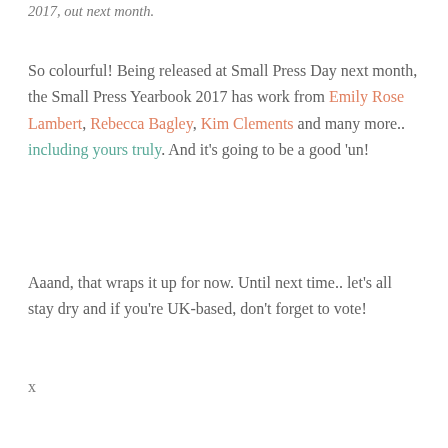2017, out next month.
So colourful! Being released at Small Press Day next month, the Small Press Yearbook 2017 has work from Emily Rose Lambert, Rebecca Bagley, Kim Clements and many more.. including yours truly. And it’s going to be a good ‘un!
Aaand, that wraps it up for now. Until next time.. let’s all stay dry and if you’re UK-based, don’t forget to vote!
x